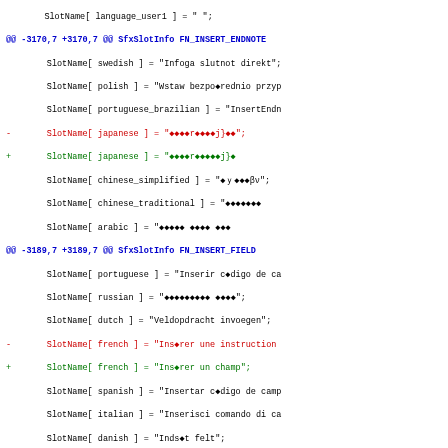SlotName[ language_user1 ] = " ";
@@ -3170,7 +3170,7 @@ SfxSlotInfo FN_INSERT_ENDNOTE
SlotName[ swedish ] = "Infoga slutnot direkt";
SlotName[ polish ] = "Wstaw bezpo�rednio przyp
SlotName[ portuguese_brazilian ] = "InsertEndn
- SlotName[ japanese ] = "����r���j}��";
+ SlotName[ japanese ] = "����r�����j}�
SlotName[ chinese_simplified ] = "��������";
SlotName[ chinese_traditional ] = "�������
SlotName[ arabic ] = "����� ���� ���
@@ -3189,7 +3189,7 @@ SfxSlotInfo FN_INSERT_FIELD
SlotName[ portuguese ] = "Inserir c�digo de ca
SlotName[ russian ] = "��������� ����";
SlotName[ dutch ] = "Veldopdracht invoegen";
- SlotName[ french ] = "Ins�rer une instruction
+ SlotName[ french ] = "Ins�rer un champ";
SlotName[ spanish ] = "Insertar c�digo de camp
SlotName[ italian ] = "Inserisci comando di ca
SlotName[ danish ] = "Inds�t felt";
@@ -3215,7 +3215,7 @@ SfxSlotInfo FN_INSERT_FIELD_C
SlotName[ portuguese ] = "Inserir campos";
SlotName[ russian ] = "�������� ����";
SlotName[ dutch ] = "Veldopdrachten invoegen";
- SlotName[ french ] = "Ins�rer des instructions
+ SlotName[ french ] = "Ins�rer des champs";
SlotName[ spanish ] = "Insertar c�digos de ca
SlotName[ italian ] = "Inserisci comandi di ca
SlotName[ danish ] = "Inds�t felter";
@@ -3529,10 +3529,10 @@ SfxSlotInfo FN_INSERT_FRAME